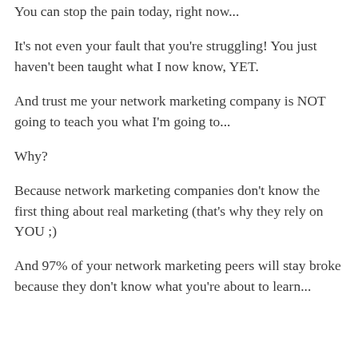You can stop the pain today, right now...
It's not even your fault that you're struggling! You just haven't been taught what I now know, YET.
And trust me your network marketing company is NOT going to teach you what I'm going to...
Why?
Because network marketing companies don't know the first thing about real marketing (that's why they rely on YOU ;)
And 97% of your network marketing peers will stay broke because they don't know what you're about to learn...